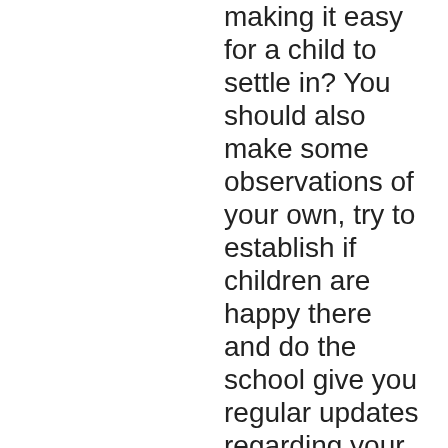making it easy for a child to settle in? You should also make some observations of your own, try to establish if children are happy there and do the school give you regular updates regarding your child's progress? Some children may have